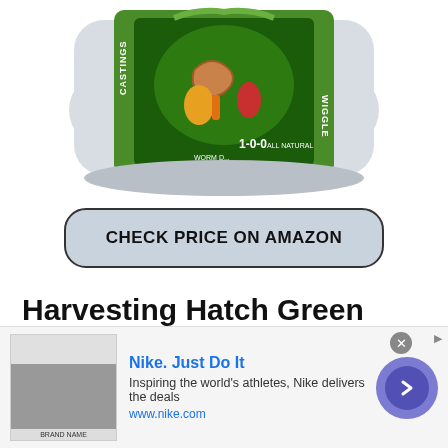[Figure (photo): A bag of Wiggle Worm castings fertilizer product (1-0-0 all natural), shown from above with partial view of green packaging featuring illustrated worm and vegetables]
CHECK PRICE ON AMAZON
Harvesting Hatch Green Chile Plant
Harvesting of Hatch chiles pepper is typically done in August and September each year.
[Figure (screenshot): Advertisement bar for Nike. Just Do It — Inspiring the world's athletes, Nike delivers the deals — www.nike.com — with thumbnail image, close button, and blue circle arrow button]